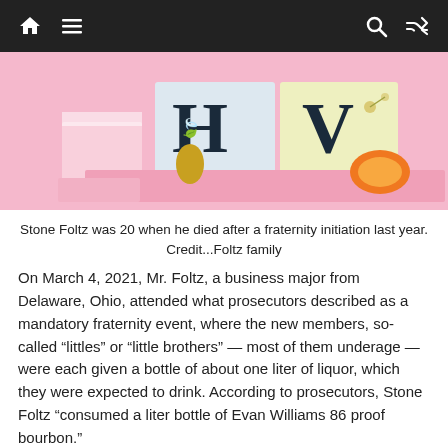Navigation bar with home, menu, search, and shuffle icons
[Figure (photo): Product photo showing two boxes labeled H and V with a pineapple and half orange on a pink background]
Stone Foltz was 20 when he died after a fraternity initiation last year. Credit...Foltz family
On March 4, 2021, Mr. Foltz, a business major from Delaware, Ohio, attended what prosecutors described as a mandatory fraternity event, where the new members, so-called “littles” or “little brothers” — most of them underage — were each given a bottle of about one liter of liquor, which they were expected to drink. According to prosecutors, Stone Foltz “consumed a liter bottle of Evan Williams 86 proof bourbon.”